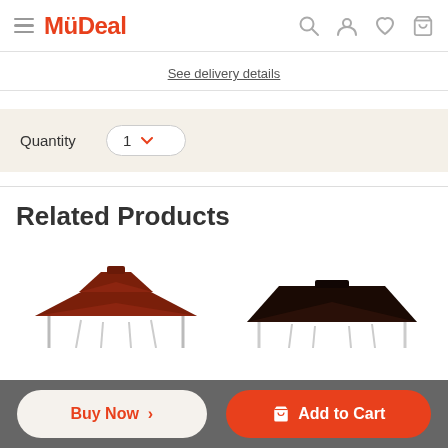MyDeal
See delivery details
Quantity  1
Related Products
[Figure (photo): Two gazebo/canopy shelter products shown as product thumbnails; left one has a reddish-brown tiered roof, right one has a dark brown single-slope roof, both on silver metal frames.]
Buy Now  >
Add to Cart